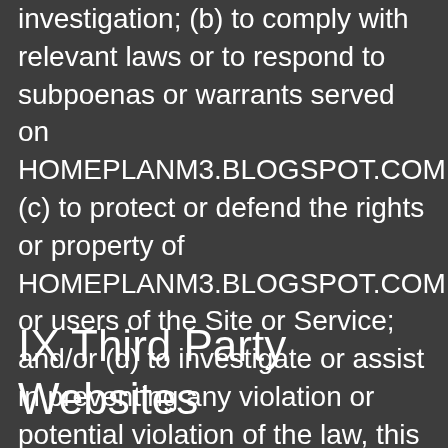investigation; (b) to comply with relevant laws or to respond to subpoenas or warrants served on HOMEPLANM3.BLOGSPOT.COM; (c) to protect or defend the rights or property of HOMEPLANM3.BLOGSPOT.COM or users of the Site or Service; and/or (d) to investigate or assist in preventing any violation or potential violation of the law, this Privacy Policy, or Our Terms of Use.
IX Third Party Websites